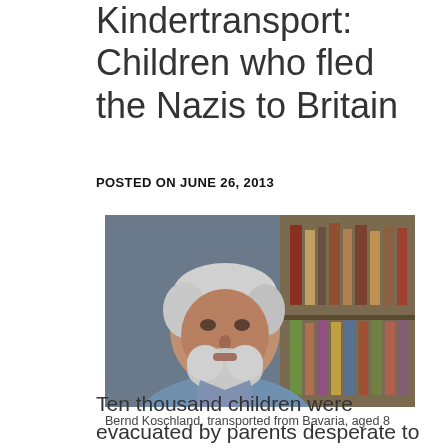Kindertransport: Children who fled the Nazis to Britain
POSTED ON JUNE 26, 2013
[Figure (photo): An elderly man with white hair and beard, wearing a light blue shirt, sitting in front of a bookshelf with books in the background. Identified as Bernd Koschland.]
Bernd Koschland, transported from Bavaria, aged 8
Ten thousand children were evacuated by parents desperate to get them to safety.